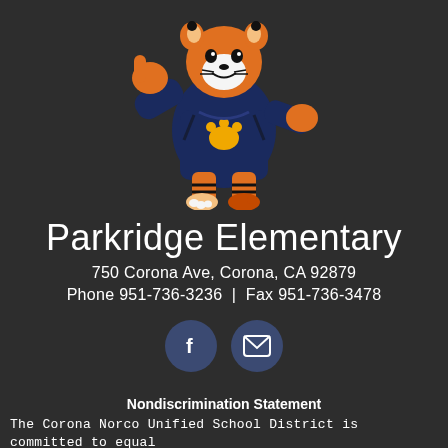[Figure (illustration): Cartoon tiger mascot giving thumbs up, wearing a dark navy sweater with yellow paw print, with orange and black striped legs and feet]
Parkridge Elementary
750 Corona Ave, Corona, CA 92879
Phone 951-736-3236  |  Fax 951-736-3478
[Figure (other): Facebook icon button (circular dark blue button with white f)]
[Figure (other): Email icon button (circular dark blue button with white envelope)]
Nondiscrimination Statement
The Corona Norco Unified School District is committed to equal